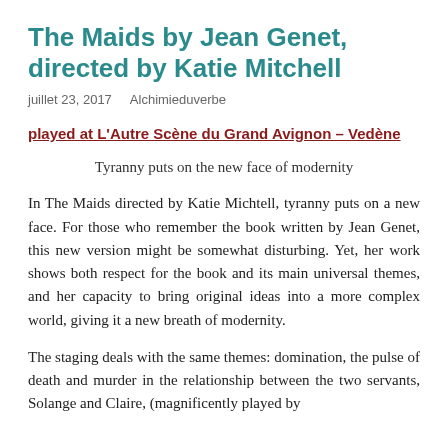The Maids by Jean Genet, directed by Katie Mitchell
juillet 23, 2017   Alchimieduverbe
played at L'Autre Scène du Grand Avignon – Vedène
Tyranny puts on the new face of modernity
In The Maids directed by Katie Michtell, tyranny puts on a new face. For those who remember the book written by Jean Genet, this new version might be somewhat disturbing. Yet, her work shows both respect for the book and its main universal themes, and her capacity to bring original ideas into a more complex world, giving it a new breath of modernity.
The staging deals with the same themes: domination, the pulse of death and murder in the relationship between the two servants, Solange and Claire, (magnificently played by